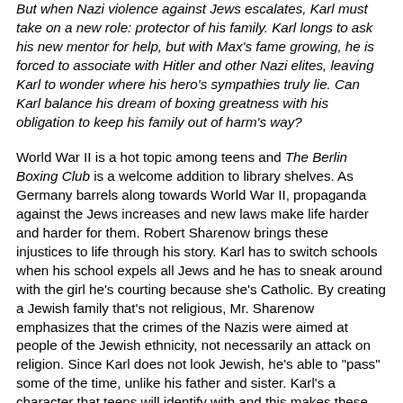But when Nazi violence against Jews escalates, Karl must take on a new role: protector of his family. Karl longs to ask his new mentor for help, but with Max's fame growing, he is forced to associate with Hitler and other Nazi elites, leaving Karl to wonder where his hero's sympathies truly lie. Can Karl balance his dream of boxing greatness with his obligation to keep his family out of harm's way?
World War II is a hot topic among teens and The Berlin Boxing Club is a welcome addition to library shelves. As Germany barrels along towards World War II, propaganda against the Jews increases and new laws make life harder and harder for them. Robert Sharenow brings these injustices to life through his story. Karl has to switch schools when his school expels all Jews and he has to sneak around with the girl he's courting because she's Catholic. By creating a Jewish family that's not religious, Mr. Sharenow emphasizes that the crimes of the Nazis were aimed at people of the Jewish ethnicity, not necessarily an attack on religion. Since Karl does not look Jewish, he's able to "pass" some of the time, unlike his father and sister. Karl's a character that teens will identify with and this makes these injustices all the more...